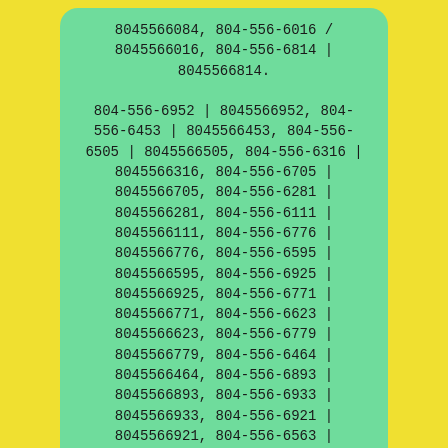8045566084, 804-556-6016 / 8045566016, 804-556-6814 | 8045566814. 804-556-6952 | 8045566952, 804-556-6453 | 8045566453, 804-556-6505 | 8045566505, 804-556-6316 | 8045566316, 804-556-6705 | 8045566705, 804-556-6281 | 8045566281, 804-556-6111 | 8045566111, 804-556-6776 | 8045566776, 804-556-6595 | 8045566595, 804-556-6925 | 8045566925, 804-556-6771 | 8045566771, 804-556-6623 | 8045566623, 804-556-6779 | 8045566779, 804-556-6464 | 8045566464, 804-556-6893 | 8045566893, 804-556-6933 | 8045566933, 804-556-6921 | 8045566921, 804-556-6563 | 8045566563, 804-556-6742 | 8045566742, 804-556-6905 | 8045566905, 804-556-6336 | 8045566336, 804-556-6678 | 8045566678,